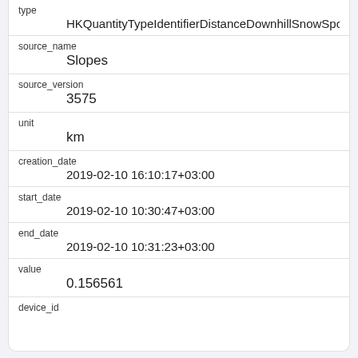| field | value |
| --- | --- |
| type | HKQuantityTypeIdentifierDistanceDownhillSnowSpo... |
| source_name | Slopes |
| source_version | 3575 |
| unit | km |
| creation_date | 2019-02-10 16:10:17+03:00 |
| start_date | 2019-02-10 10:30:47+03:00 |
| end_date | 2019-02-10 10:31:23+03:00 |
| value | 0.156561 |
| device_id |  |
| field | value |
| --- | --- |
| id | 1 |